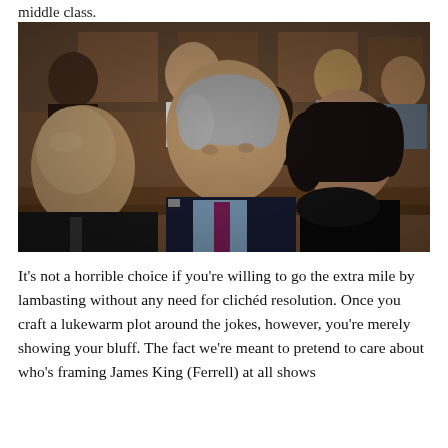middle class.
[Figure (photo): Several people seated in what appears to be a courtroom gallery. In the foreground, an older silver-haired man in a dark suit with a purple tie sits between a bald man in a dark suit on the left and a young dark-haired woman in black on the right. Several other people are visible in the background rows behind wooden benches.]
It’s not a horrible choice if you’re willing to go the extra mile by lambasting without any need for clichéd resolution. Once you craft a lukewarm plot around the jokes, however, you’re merely showing your bluff. The fact we’re meant to pretend to care about who’s framing James King (Ferrell) at all shows